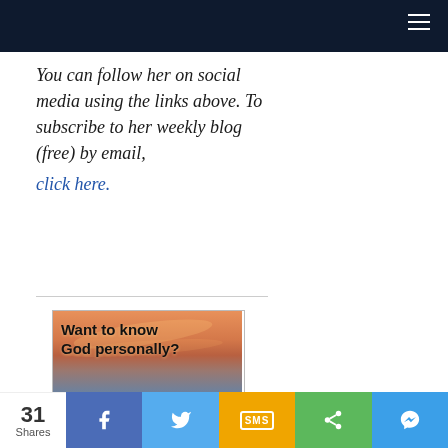Navigation bar
You can follow her on social media using the links above. To subscribe to her weekly blog (free) by email, click here.
[Figure (illustration): Advertisement banner: 'Want to know God personally? Click here!' with a sunset over water background image.]
31 Shares | Facebook | Twitter | SMS | Share | Messenger